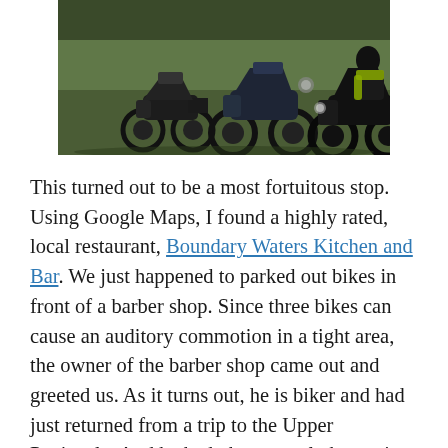[Figure (photo): Three motorcycles parked on grass, with a rider visible on the rightmost bike wearing a yellow-green jacket. The bikes are large cruiser/touring style motorcycles photographed outdoors on a grassy field.]
This turned out to be a most fortuitous stop. Using Google Maps, I found a highly rated, local restaurant, Boundary Waters Kitchen and Bar. We just happened to parked out bikes in front of a barber shop. Since three bikes can cause an auditory commotion in a tight area, the owner of the barber shop came out and greeted us. As it turns out, he is biker and had just returned from a trip to the Upper Peninsula. And he had photos, real photos, in a book, to show us. We had a great time talking to him and he provided us with a lot of excellent tips and